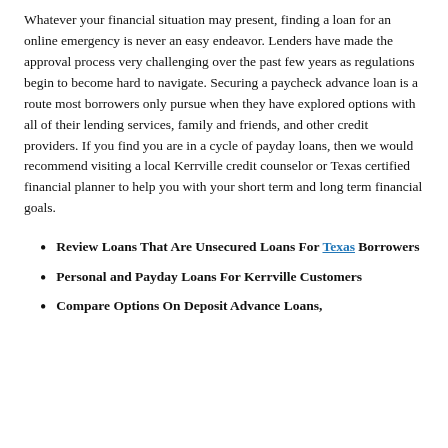Whatever your financial situation may present, finding a loan for an online emergency is never an easy endeavor. Lenders have made the approval process very challenging over the past few years as regulations begin to become hard to navigate. Securing a paycheck advance loan is a route most borrowers only pursue when they have explored options with all of their lending services, family and friends, and other credit providers. If you find you are in a cycle of payday loans, then we would recommend visiting a local Kerrville credit counselor or Texas certified financial planner to help you with your short term and long term financial goals.
Review Loans That Are Unsecured Loans For Texas Borrowers
Personal and Payday Loans For Kerrville Customers
Compare Options On Deposit Advance Loans,